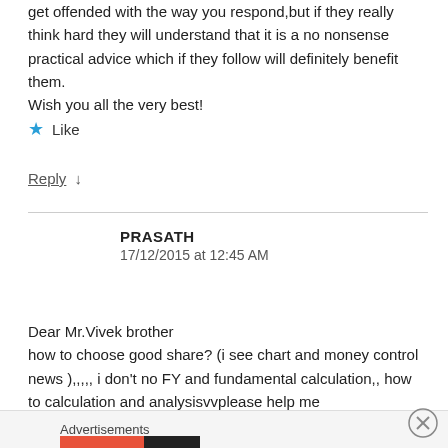get offended with the way you respond,but if they really think hard they will understand that it is a no nonsense practical advice which if they follow will definitely benefit them.
Wish you all the very best!
★ Like
Reply ↓
PRASATH
17/12/2015 at 12:45 AM
Dear Mr.Vivek brother
how to choose good share? (i see chart and money control news ),,,,, i don't no FY and fundamental calculation,, how to calculation and analysisvvplease help me
Advertisements